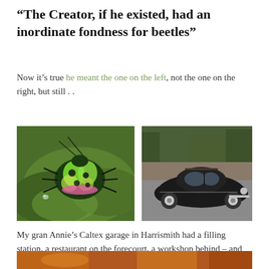“The Creator, if he existed, had an inordinate fondness for beetles”
Now it’s true he meant the one on the left, not the one on the right, but still . .
[Figure (photo): Colorful iridescent beetle (green, yellow, pink, black spots) resting on a green leaf]
[Figure (photo): Black classic Volkswagen Beetle car with white wall tires parked in a lot, trees in background]
My gran Annie’s Caltex garage in Harrismith had a filling station, a restaurant on the forecourt, a workshop behind – and the VW agency. My gran Annie sold VW Beetles!
[Figure (photo): Partial image of what appears to be an orange and brown sunset or interior scene, cropped at bottom of page]